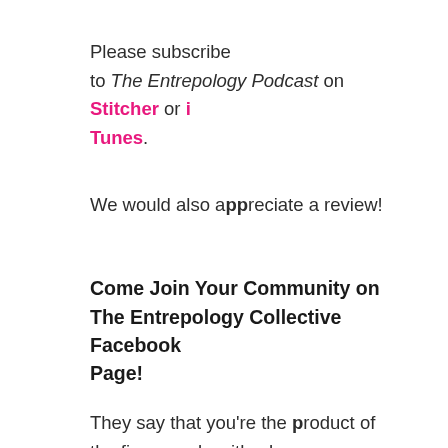Please subscribe to The Entrepology Podcast on Stitcher or iTunes.
We would also appreciate a review!
Come Join Your Community on The Entrepology Collective Facebook Page!
They say that you're the product of the five people with whom you spend the most time. Imagine you could spend time with hundreds of fellow entrepreneurs and go-getters looking to up-level their